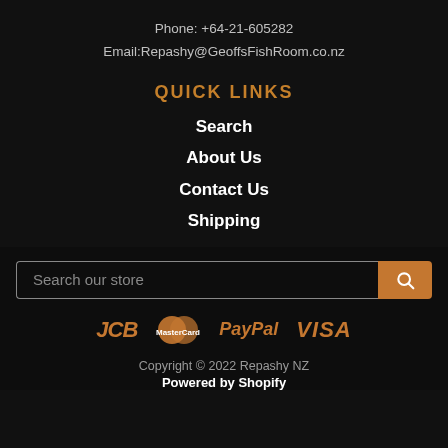Phone: +64-21-605282
Email:Repashy@GeoffsFishRoom.co.nz
QUICK LINKS
Search
About Us
Contact Us
Shipping
Search our store
[Figure (logo): Payment method logos: JCB, MasterCard, PayPal, VISA in orange color]
Copyright © 2022 Repashy NZ
Powered by Shopify